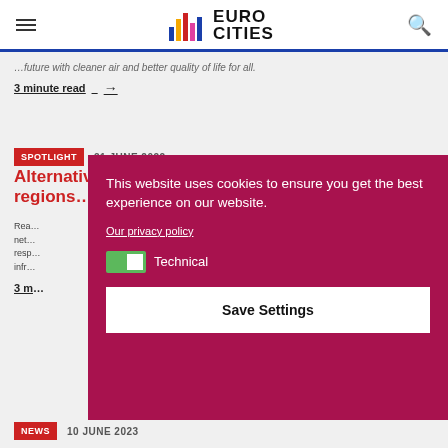EUROCITIES
...future with cleaner air and better quality of life for all.
3 minute read →
SPOTLIGHT   21 JUNE 2022
Alternative fuels charging: cities and regions...
Read about how cities and regions are building charging networks to support the transition to electric vehicles, and their responsibilities for alternative fuels infrastructure.
3 m...
NEWS   10 JUNE 2023
[Figure (screenshot): Cookie consent overlay on EUROCITIES website with text: This website uses cookies to ensure you get the best experience on our website. Our privacy policy link. Technical toggle switch. Save Settings button.]